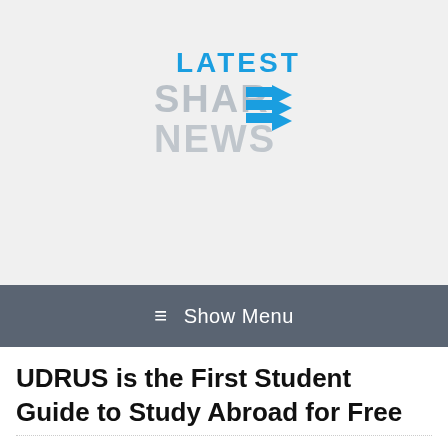[Figure (logo): Latest Share News logo with blue 'LATEST' text, grey 'SHARE' text with blue arrows, grey 'NEWS' text]
≡  Show Menu
UDRUS is the First Student Guide to Study Abroad for Free